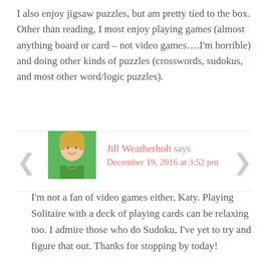I also enjoy jigsaw puzzles, but am pretty tied to the box. Other than reading, I most enjoy playing games (almost anything board or card – not video games….I'm horrible) and doing other kinds of puzzles (crosswords, sudokus, and most other word/logic puzzles).
Jill Weatherholt says
December 19, 2016 at 3:52 pm
I'm not a fan of video games either, Katy. Playing Solitaire with a deck of playing cards can be relaxing too. I admire those who do Sudoku, I've yet to try and figure that out. Thanks for stopping by today!